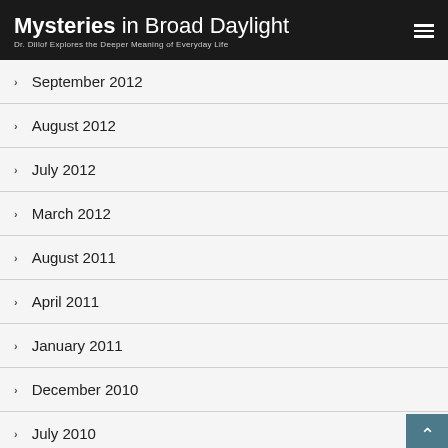Mysteries in Broad Daylight – Dr. Dillof Explores the Deeper Meaning of Everyday Life
September 2012
August 2012
July 2012
March 2012
August 2011
April 2011
January 2011
December 2010
July 2010